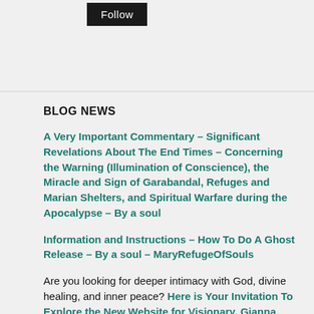[Figure (other): Follow button — black rectangular button with white text 'Follow']
BLOG NEWS
A Very Important Commentary – Significant Revelations About The End Times – Concerning the Warning (Illumination of Conscience), the Miracle and Sign of Garabandal, Refuges and Marian Shelters, and Spiritual Warfare during the Apocalypse – By a soul
Information and Instructions – How To Do A Ghost Release – By a soul – MaryRefugeOfSouls
Are you looking for deeper intimacy with God, divine healing, and inner peace? Here is Your Invitation To Explore the New Website for Visionary, Gianna Talone-Sullivan, of Our Lady of Emmitsburg